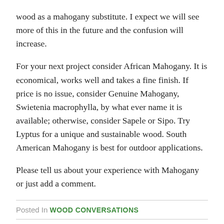wood as a mahogany substitute. I expect we will see more of this in the future and the confusion will increase.
For your next project consider African Mahogany. It is economical, works well and takes a fine finish. If price is no issue, consider Genuine Mahogany, Swietenia macrophylla, by what ever name it is available; otherwise, consider Sapele or Sipo. Try Lyptus for a unique and sustainable wood. South American Mahogany is best for outdoor applications.
Please tell us about your experience with Mahogany or just add a comment.
Posted In WOOD CONVERSATIONS
Discussion, Questions & Answers
Comments  Community  🔒 Privacy Policy